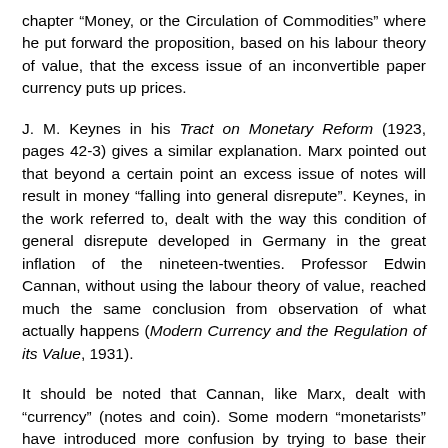chapter “Money, or the Circulation of Commodities” where he put forward the proposition, based on his labour theory of value, that the excess issue of an inconvertible paper currency puts up prices.
J. M. Keynes in his Tract on Monetary Reform (1923, pages 42-3) gives a similar explanation. Marx pointed out that beyond a certain point an excess issue of notes will result in money “falling into general disrepute”. Keynes, in the work referred to, dealt with the way this condition of general disrepute developed in Germany in the great inflation of the nineteen-twenties. Professor Edwin Cannan, without using the labour theory of value, reached much the same conclusion from observation of what actually happens (Modern Currency and the Regulation of its Value, 1931).
It should be noted that Cannan, like Marx, dealt with “currency” (notes and coin). Some modern “monetarists” have introduced more confusion by trying to base their theories on “money” defined to include bank deposits as well as notes and coin..